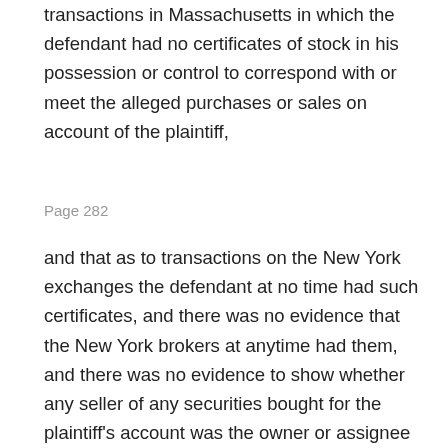transactions in Massachusetts in which the defendant had no certificates of stock in his possession or control to correspond with or meet the alleged purchases or sales on account of the plaintiff,
Page 282
and that as to transactions on the New York exchanges the defendant at no time had such certificates, and there was no evidence that the New York brokers at anytime had them, and there was no evidence to show whether any seller of any securities bought for the plaintiff's account was the owner or assignee of such securities or authorized by an owner or assignee to sell them. The question narrowly stated is whether a defendant in a case like this makes out a defense by showing purchases and sales of stock on the stock